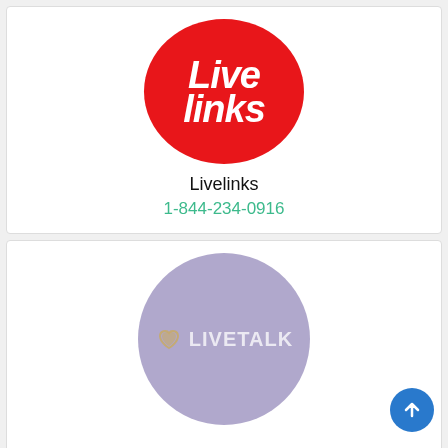[Figure (logo): Livelinks logo: red circle with white bold italic text 'Live links']
Livelinks
1-844-234-0916
[Figure (logo): LiveTalk logo: purple circle with heart icon and white text 'LIVETALK']